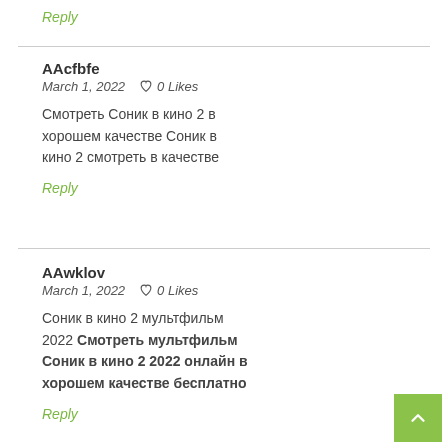Reply
AAcfbfe
March 1, 2022   0 Likes
Смотреть Соник в кино 2 в хорошем качестве Соник в кино 2 смотреть в качестве
Reply
AAwklov
March 1, 2022   0 Likes
Соник в кино 2 мультфильм 2022 Смотреть мультфильм Соник в кино 2 2022 онлайн в хорошем качестве бесплатно
Reply